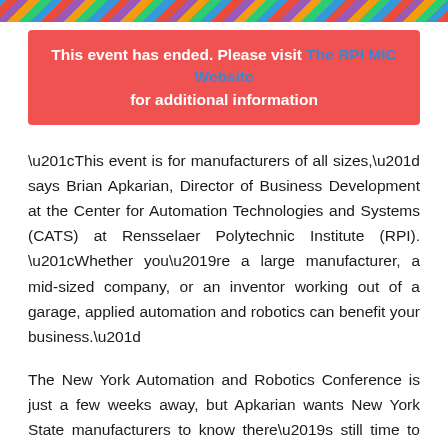[diagonal stripe decorative bar]
This event has ended. Please visit The RPI MIC Website for additional information
“This event is for manufacturers of all sizes,” says Brian Apkarian, Director of Business Development at the Center for Automation Technologies and Systems (CATS) at Rensselaer Polytechnic Institute (RPI). “Whether you’re a large manufacturer, a mid-sized company, or an inventor working out of a garage, applied automation and robotics can benefit your business.”
The New York Automation and Robotics Conference is just a few weeks away, but Apkarian wants New York State manufacturers to know there’s still time to register for the October 23rd event. He also wants